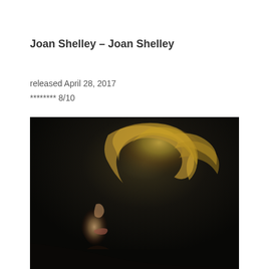Joan Shelley – Joan Shelley
released April 28, 2017
******** 8/10
[Figure (photo): Close-up profile portrait of a woman with blonde windswept hair against a dark background, facing left, dramatically lit.]